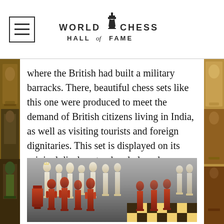World Chess Hall of Fame
where the British had built a military barracks. There, beautiful chess sets like this one were produced to meet the demand of British citizens living in India, as well as visiting tourists and foreign dignitaries. This set is displayed on its original display stand and glass dome.
[Figure (photo): Photograph of an ivory and red-stained chess set with intricately carved figurines displayed on a checkered board. The pieces include elaborately detailed human figures in two contrasting colors — natural ivory/cream pieces in the back row and red/rust-colored pieces in the front row.]